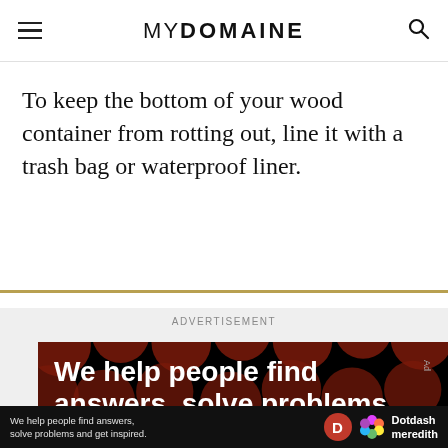MYDOMAINE
To keep the bottom of your wood container from rotting out, line it with a trash bag or waterproof liner.
[Figure (screenshot): Advertisement banner with text: 'We help people find answers, solve problems' on a dark background with dark red circles. Below is a strip showing 'We help people find answers, solve problems and get inspired.' with Dotdash Meredith logo.]